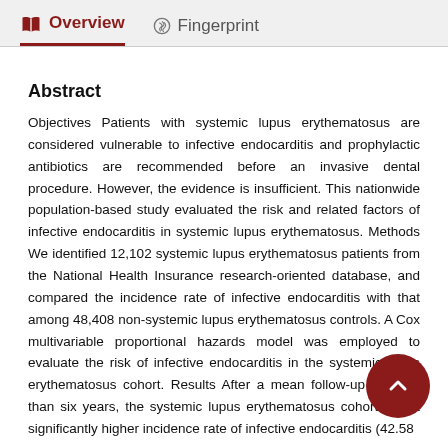Overview   Fingerprint
Abstract
Objectives Patients with systemic lupus erythematosus are considered vulnerable to infective endocarditis and prophylactic antibiotics are recommended before an invasive dental procedure. However, the evidence is insufficient. This nationwide population-based study evaluated the risk and related factors of infective endocarditis in systemic lupus erythematosus. Methods We identified 12,102 systemic lupus erythematosus patients from the National Health Insurance research-oriented database, and compared the incidence rate of infective endocarditis with that among 48,408 non-systemic lupus erythematosus controls. A Cox multivariable proportional hazards model was employed to evaluate the risk of infective endocarditis in the systemic lupus erythematosus cohort. Results After a mean follow-up of more than six years, the systemic lupus erythematosus cohort had a significantly higher incidence rate of infective endocarditis (42.58